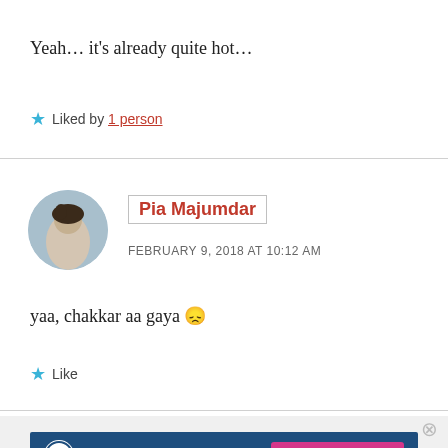Yeah… it's already quite hot…
★ Liked by 1 person
Pia Majumdar
FEBRUARY 9, 2018 AT 10:12 AM
yaa, chakkar aa gaya 😕
★ Like
Advertisements
[Figure (logo): WordPress.com ad banner with Build Your Website button]